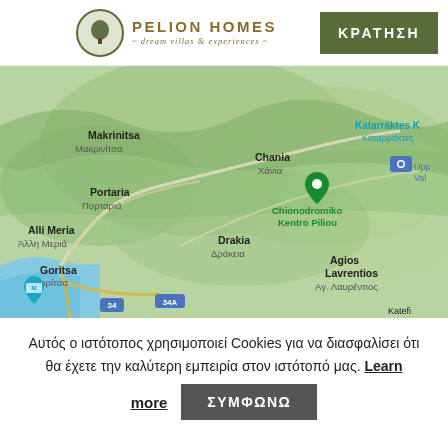PELION HOMES ~ dream villas & experiences ~ | ΚΡΑΤΗΣΗ
[Figure (map): Google Maps view of Pelion peninsula area showing locations: Makrinitsa/Μακρινίτσα, Portaria/Πορταριά, road 34A, Chania/Χάνια, Chionodromiko Kentro Piliou (with green map pin), Drakia/Δράκεια, Alli Meria/Άλλη Μεριά, Goritsa/Γορίτσα, Agios Lavrentios/Αγ. Λαυρέντιος, road 34, Katarráktes/Καταρράκτες, Upper Valley camera icon, Katefi (partial). Blue water visible at bottom-left.]
Αυτός ο ιστότοπος χρησιμοποιεί Cookies για να διασφαλίσει ότι θα έχετε την καλύτερη εμπειρία στον ιστότοπό μας. Learn more
ΣΥΜΦΩΝΩ